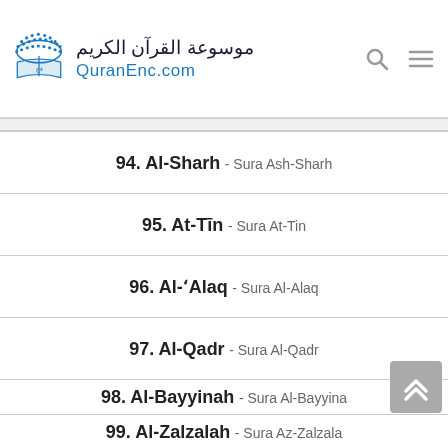QuranEnc.com
94. Al-Sharh - Sura Ash-Sharh
95. At-Tīn - Sura At-Tin
96. Al-ʻAlaq - Sura Al-Alaq
97. Al-Qadr - Sura Al-Qadr
98. Al-Bayyinah - Sura Al-Bayyina
99. Al-Zalzalah - Sura Az-Zalzala